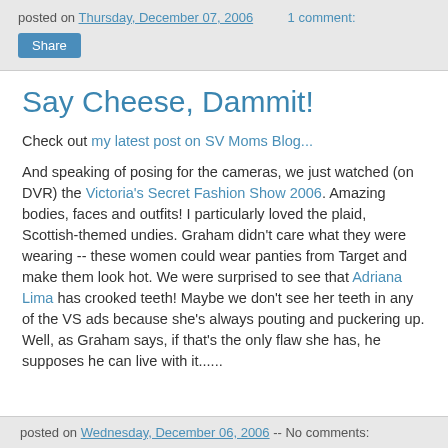posted on Thursday, December 07, 2006   1 comment:
Share
Say Cheese, Dammit!
Check out my latest post on SV Moms Blog...
And speaking of posing for the cameras, we just watched (on DVR) the Victoria's Secret Fashion Show 2006. Amazing bodies, faces and outfits! I particularly loved the plaid, Scottish-themed undies. Graham didn't care what they were wearing -- these women could wear panties from Target and make them look hot. We were surprised to see that Adriana Lima has crooked teeth! Maybe we don't see her teeth in any of the VS ads because she's always pouting and puckering up. Well, as Graham says, if that's the only flaw she has, he supposes he can live with it......
posted on Wednesday, December 06, 2006 -- No comments: